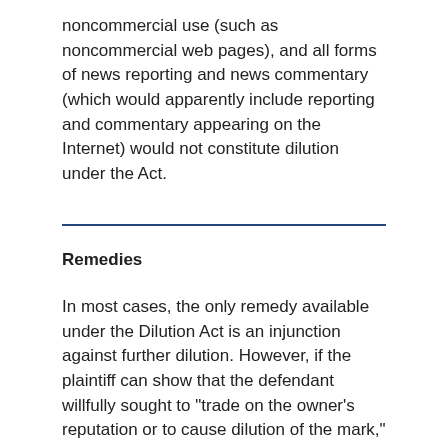noncommercial use (such as noncommercial web pages), and all forms of news reporting and news commentary (which would apparently include reporting and commentary appearing on the Internet) would not constitute dilution under the Act.
Remedies
In most cases, the only remedy available under the Dilution Act is an injunction against further dilution. However, if the plaintiff can show that the defendant willfully sought to "trade on the owner's reputation or to cause dilution of the mark," attorneys fees, monetary damages, and even treble damages would be available.
Relationship to state actions